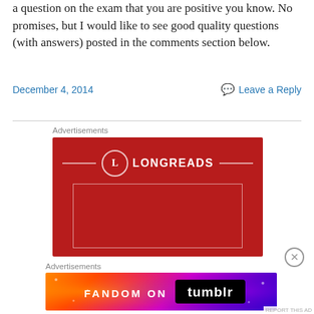a question on the exam that you are positive you know. No promises, but I would like to see good quality questions (with answers) posted in the comments section below.
December 4, 2014
Leave a Reply
Advertisements
[Figure (illustration): Longreads advertisement banner with red background, circular L logo, and LONGREADS text with decorative lines]
Advertisements
[Figure (illustration): Fandom on Tumblr advertisement with colorful gradient background and bold text]